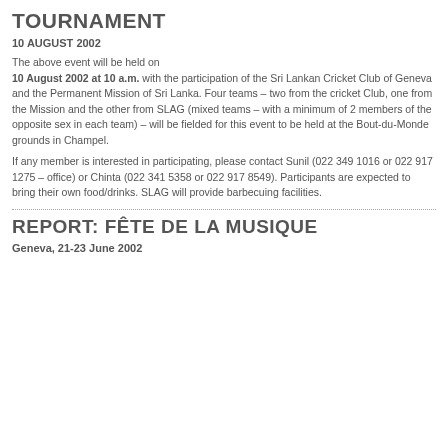TOURNAMENT
10 AUGUST 2002
The above event will be held on 10 August 2002 at 10 a.m. with the participation of the Sri Lankan Cricket Club of Geneva and the Permanent Mission of Sri Lanka. Four teams – two from the cricket Club, one from the Mission and the other from SLAG (mixed teams – with a minimum of 2 members of the opposite sex in each team) – will be fielded for this event to be held at the Bout-du-Monde grounds in Champel.
If any member is interested in participating, please contact Sunil (022 349 1016 or 022 917 1275 – office) or Chinta (022 341 5358 or 022 917 8549). Participants are expected to bring their own food/drinks. SLAG will provide barbecuing facilities.
REPORT: FÊTE DE LA MUSIQUE
Geneva, 21-23 June 2002